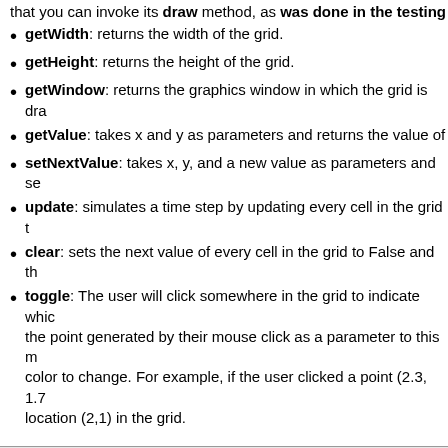getWidth: returns the width of the grid.
getHeight: returns the height of the grid.
getWindow: returns the graphics window in which the grid is dra
getValue: takes x and y as parameters and returns the value of
setNextValue: takes x, y, and a new value as parameters and se
update: simulates a time step by updating every cell in the grid t
clear: sets the next value of every cell in the grid to False and th
toggle: The user will click somewhere in the grid to indicate whic the point generated by their mouse click as a parameter to this m color to change. For example, if the user clicked a point (2.3, 1.7 location (2,1) in the grid.
4.  Test the Grid class
Modify the main in your grid.py file so that it will:
1. Create a Grid object.
2. Use a for loop to draw a line in the graphics window using the se values of appropriate cells to True
3. Use the grid's update method to change the values and the colo
For example, here is a 10 by 10 grid with a horizontal line: